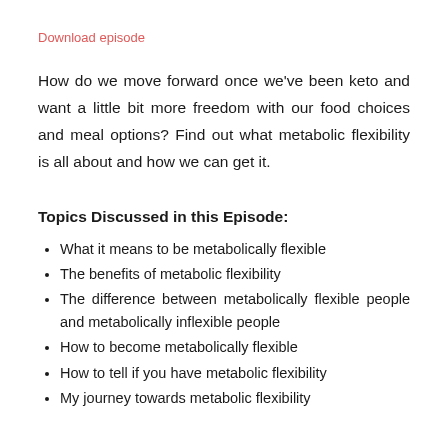Download episode
How do we move forward once we've been keto and want a little bit more freedom with our food choices and meal options? Find out what metabolic flexibility is all about and how we can get it.
Topics Discussed in this Episode:
What it means to be metabolically flexible
The benefits of metabolic flexibility
The difference between metabolically flexible people and metabolically inflexible people
How to become metabolically flexible
How to tell if you have metabolic flexibility
My journey towards metabolic flexibility